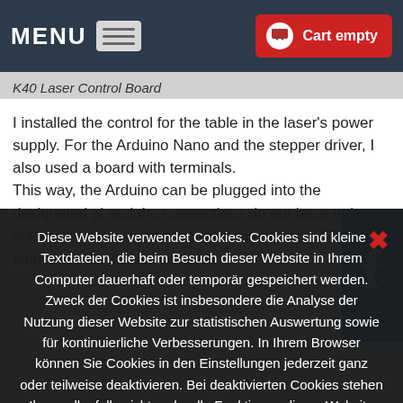MENU  Cart empty
K40 Laser Control Board
I installed the control for the table in the laser's power supply. For the Arduino Nano and the stepper driver, I also used a board with terminals.
This way, the Arduino can be plugged into the designated pi and the connections do not have to be soldered directly to the electronic components. The stepper motor can be plugged
[Figure (screenshot): Facebook widget overlay on the right side of the page]
Diese Website verwendet Cookies. Cookies sind kleine Textdateien, die beim Besuch dieser Website in Ihrem Computer dauerhaft oder temporär gespeichert werden. Zweck der Cookies ist insbesondere die Analyse der Nutzung dieser Website zur statistischen Auswertung sowie für kontinuierliche Verbesserungen. In Ihrem Browser können Sie Cookies in den Einstellungen jederzeit ganz oder teilweise deaktivieren. Bei deaktivierten Cookies stehen Ihnen allenfalls nicht mehr alle Funktionen dieser Website zur Verfügung.»